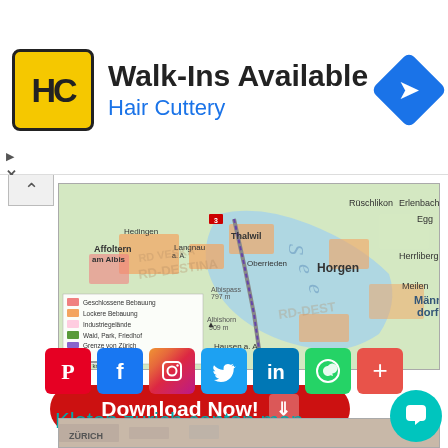[Figure (infographic): Hair Cuttery advertisement banner with logo, 'Walk-Ins Available' text, blue navigation arrow icon]
[Figure (map): Map of Zurich canton area showing Thalwil, Horgen, Erlenbach, Herrliberg, Männedorf, Affoltern am Albis, Langnau a.A., Oberrieden, Albispass, Hausen a.A., with legend showing Geschlossene Bebauung, Lockere Bebauung, Industriegelände, Wald Park Friedhof, Grenze von Zürich]
[Figure (infographic): Red 'Download Now!' button with white arrow icon]
[Figure (infographic): Social media icons row: Pinterest, Facebook, Instagram, Twitter, LinkedIn, WhatsApp, Add(+)]
Kloten zurich canton map
[Figure (map): Bottom strip showing beginning of another map with Zürich label]